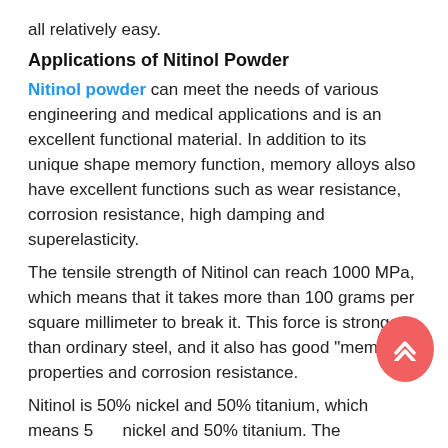all relatively easy.
Applications of Nitinol Powder
Nitinol powder can meet the needs of various engineering and medical applications and is an excellent functional material. In addition to its unique shape memory function, memory alloys also have excellent functions such as wear resistance, corrosion resistance, high damping and superelasticity.
The tensile strength of Nitinol can reach 1000 MPa, which means that it takes more than 100 grams per square millimeter to break it. This force is stronger than ordinary steel, and it also has good "memory" properties and corrosion resistance.
Nitinol is 50% nickel and 50% titanium, which means 50% nickel and 50% titanium. The temperature range of the shape memory can be adjusted by the control element.
Generally, the higher the nickel content of Nitinol, the lower